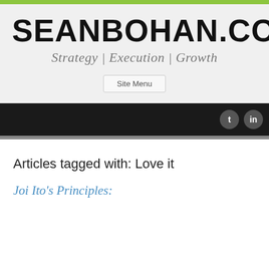SEANBOHAN.COM
Strategy | Execution | Growth
Site Menu
Articles tagged with: Love it
Joi Ito's Principles: